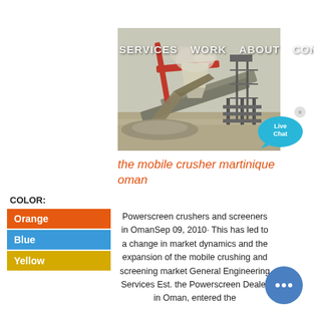SERVICES   WORK   ABOUT   CONTACT
[Figure (photo): Industrial mobile crusher and screening conveyor machinery operating outdoors, with dust and gravel, red crane arm visible]
[Figure (illustration): Live Chat speech bubble icon in cyan/blue]
the mobile crusher martinique oman
COLOR:
Orange
Blue
Yellow
Powerscreen crushers and screeners in OmanSep 09, 2010· This has led to a change in market dynamics and the expansion of the mobile crushing and screening market General Engineering Services Est. the Powerscreen Dealer in Oman, entered the
[Figure (illustration): Round blue chat button with ellipsis dots]